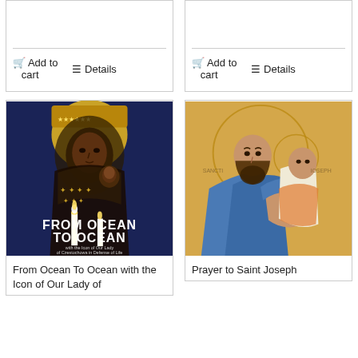Add to cart
Details
Add to cart
Details
[Figure (photo): Book cover: 'From Ocean To Ocean with the Icon of Our Lady of Czestochowa in Defense of Life' - showing Black Madonna icon with candles]
From Ocean To Ocean with the Icon of Our Lady of
[Figure (photo): Book cover: 'Prayer to Saint Joseph' - showing an icon of Saint Joseph holding the child Jesus]
Prayer to Saint Joseph